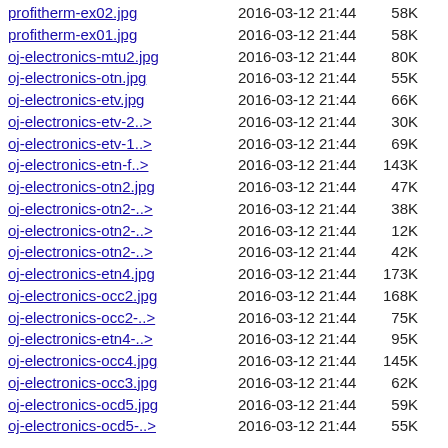profitherm-ex02.jpg  2016-03-12 21:44  58K
profitherm-ex01.jpg  2016-03-12 21:44  58K
oj-electronics-mtu2.jpg  2016-03-12 21:44  80K
oj-electronics-otn.jpg  2016-03-12 21:44  55K
oj-electronics-etv.jpg  2016-03-12 21:44  66K
oj-electronics-etv-2..>  2016-03-12 21:44  30K
oj-electronics-etv-1..>  2016-03-12 21:44  69K
oj-electronics-etn-f..>  2016-03-12 21:44 143K
oj-electronics-otn2.jpg  2016-03-12 21:44  47K
oj-electronics-otn2-..>  2016-03-12 21:44  38K
oj-electronics-otn2-..>  2016-03-12 21:44  12K
oj-electronics-otn2-..>  2016-03-12 21:44  42K
oj-electronics-etn4.jpg  2016-03-12 21:44 173K
oj-electronics-occ2.jpg  2016-03-12 21:44 168K
oj-electronics-occ2-..>  2016-03-12 21:44  75K
oj-electronics-etn4-..>  2016-03-12 21:44  95K
oj-electronics-occ4.jpg  2016-03-12 21:44 145K
oj-electronics-occ3.jpg  2016-03-12 21:44  62K
oj-electronics-ocd5.jpg  2016-03-12 21:44  59K
oj-electronics-ocd5-..>  2016-03-12 21:44  55K